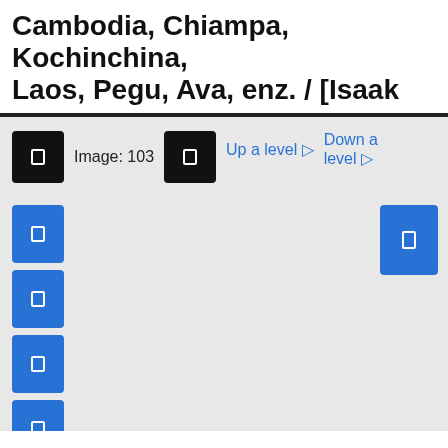Cambodia, Chiampa, Kochinchina, Laos, Pegu, Ava, enz. / [Isaak
[Figure (screenshot): Web interface screenshot showing image navigation controls: black icon buttons, 'Image: 103' label, blue icon buttons, 'Up a level' and 'Down a level' navigation links in blue, left column of blue icon buttons, and a right-side blue icon button.]